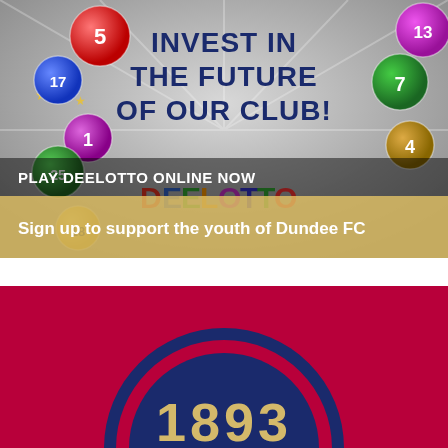[Figure (illustration): Deelotto promotional banner with bingo balls numbered 5, 17, 1, 25, 13, 7, 4, 18, stars, and colorful lottery/bingo ball imagery. Text reads INVEST IN THE FUTURE OF OUR CLUB! PLAY DEELOTTO ONLINE NOW. Sign up to support the youth of Dundee FC]
[Figure (logo): Dundee FC crest/emblem on red background showing circular navy badge with 1893 text]